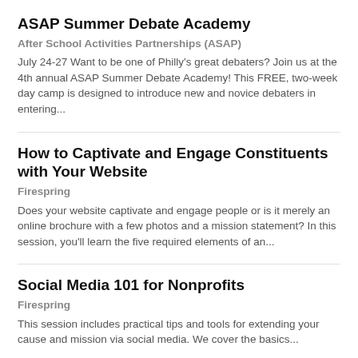ASAP Summer Debate Academy
After School Activities Partnerships (ASAP)
July 24-27 Want to be one of Philly's great debaters? Join us at the 4th annual ASAP Summer Debate Academy! This FREE, two-week day camp is designed to introduce new and novice debaters in entering...
How to Captivate and Engage Constituents with Your Website
Firespring
Does your website captivate and engage people or is it merely an online brochure with a few photos and a mission statement? In this session, you'll learn the five required elements of an...
Social Media 101 for Nonprofits
Firespring
This session includes practical tips and tools for extending your cause and mission via social media. We cover the basics...